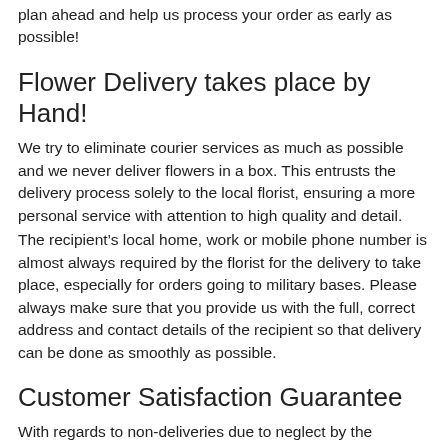plan ahead and help us process your order as early as possible!
Flower Delivery takes place by Hand!
We try to eliminate courier services as much as possible and we never deliver flowers in a box. This entrusts the delivery process solely to the local florist, ensuring a more personal service with attention to high quality and detail.
The recipient’s local home, work or mobile phone number is almost always required by the florist for the delivery to take place, especially for orders going to military bases. Please always make sure that you provide us with the full, correct address and contact details of the recipient so that delivery can be done as smoothly as possible.
Customer Satisfaction Guarantee
With regards to non-deliveries due to neglect by the respective country’s head office or florist, we will